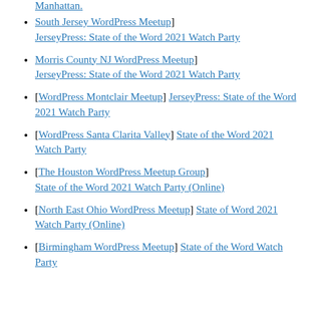[South Jersey WordPress Meetup] JerseyPress: State of the Word 2021 Watch Party
[Morris County NJ WordPress Meetup] JerseyPress: State of the Word 2021 Watch Party
[WordPress Montclair Meetup] JerseyPress: State of the Word 2021 Watch Party
[WordPress Santa Clarita Valley] State of the Word 2021 Watch Party
[The Houston WordPress Meetup Group] State of the Word 2021 Watch Party (Online)
[North East Ohio WordPress Meetup] State of Word 2021 Watch Party (Online)
[Birmingham WordPress Meetup] State of the Word Watch Party